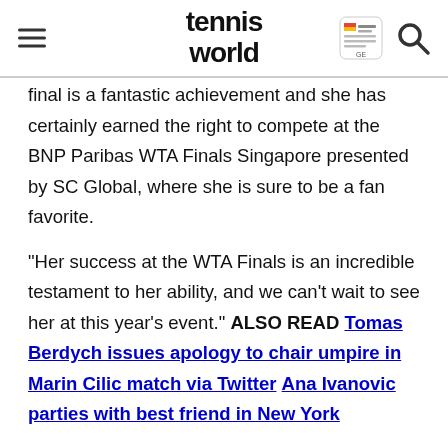tennis world
final is a fantastic achievement and she has certainly earned the right to compete at the BNP Paribas WTA Finals Singapore presented by SC Global, where she is sure to be a fan favorite.
"Her success at the WTA Finals is an incredible testament to her ability, and we can't wait to see her at this year's event." ALSO READ Tomas Berdych issues apology to chair umpire in Marin Cilic match via Twitter Ana Ivanovic parties with best friend in New York